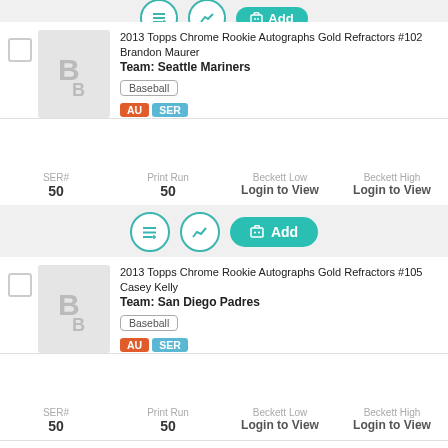[Figure (screenshot): Top action bar with list icon, chart icon, and teal Add button (partially visible at top)]
2013 Topps Chrome Rookie Autographs Gold Refractors #102 Brandon Maurer
Team: Seattle Mariners
Baseball
AU SER
| SER# | Print Run | Beckett Low | Beckett High |
| --- | --- | --- | --- |
| 50 | 50 | Login to View | Login to View |
[Figure (screenshot): Action bar with list icon, chart icon, and teal Add button]
2013 Topps Chrome Rookie Autographs Gold Refractors #105 Casey Kelly
Team: San Diego Padres
Baseball
AU SER
| SER# | Print Run | Beckett Low | Beckett High |
| --- | --- | --- | --- |
| 50 | 50 | Login to View | Login to View |
We use cookies to help personalize content, tailor and measure ads, and
provide a safer experience. By navigating the site, you agree to the use of cookies to collect information on our mobile app.
Get Beckett on your mobile device.
Install App